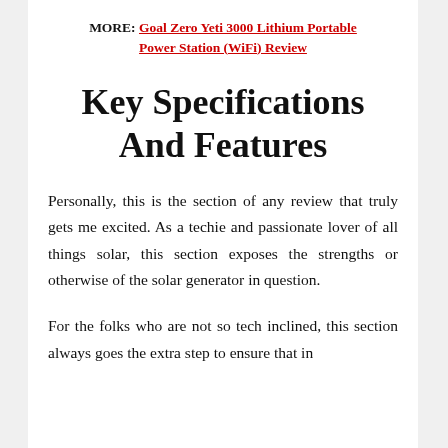MORE: Goal Zero Yeti 3000 Lithium Portable Power Station (WiFi) Review
Key Specifications And Features
Personally, this is the section of any review that truly gets me excited. As a techie and passionate lover of all things solar, this section exposes the strengths or otherwise of the solar generator in question.
For the folks who are not so tech inclined, this section always goes the extra step to ensure that in